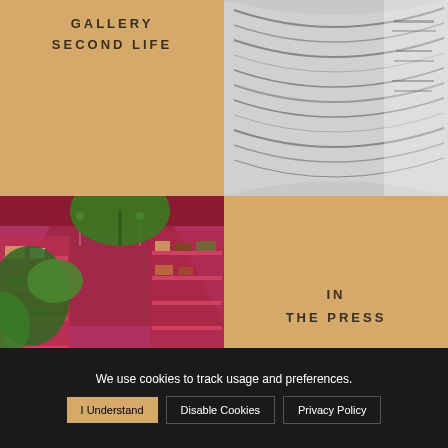GALLERY
SECOND LIFE
[Figure (photo): Black and white close-up photo of stacked/rolled magazine or newspaper pages]
[Figure (photo): Color photo of a boutique store interior with pink/red walls, metal shelving units displaying bags and accessories, and tropical plants in foreground]
IN
THE PRESS
We use cookies to track usage and preferences.
I Understand
Disable Cookies
Privacy Policy